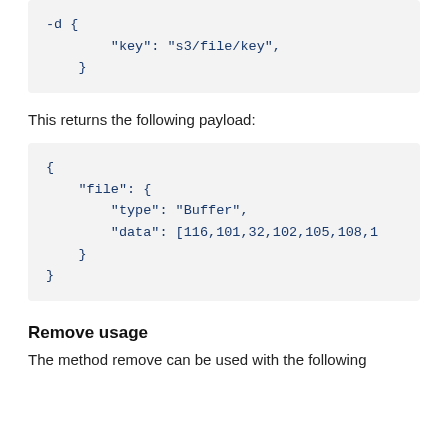-d {
        "key": "s3/file/key",
    }
This returns the following payload:
{
    "file": {
        "type": "Buffer",
        "data": [116,101,32,102,105,108,1
    }
}
Remove usage
The method remove can be used with the following